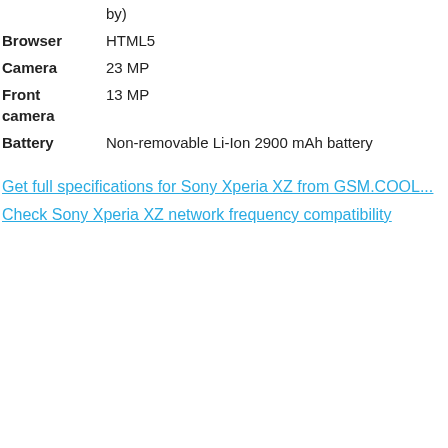|  | by) |
| Browser | HTML5 |
| Camera | 23 MP |
| Front camera | 13 MP |
| Battery | Non-removable Li-Ion 2900 mAh battery |
Get full specifications for Sony Xperia XZ from GSM.COOL...
Check Sony Xperia XZ network frequency compatibility